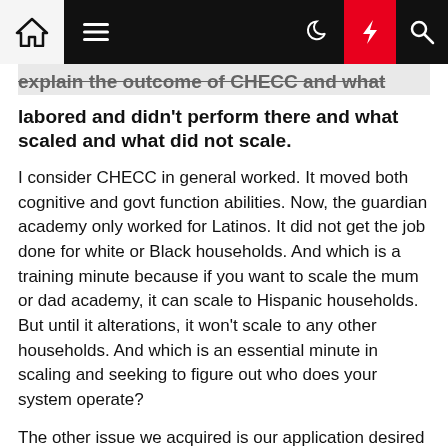Navigation bar with home, menu, dark mode, bolt, and search icons
labored and didn't perform there and what scaled and what did not scale.
I consider CHECC in general worked. It moved both cognitive and govt function abilities. Now, the guardian academy only worked for Latinos. It did not get the job done for white or Black households. And which is a training minute because if you want to scale the mum or dad academy, it can scale to Hispanic households. But until it alterations, it won't scale to any other households. And which is an essential minute in scaling and seeking to figure out who does your system operate?
The other issue we acquired is our application desired good academics. So our application can scale as prolonged as we have superior academics.